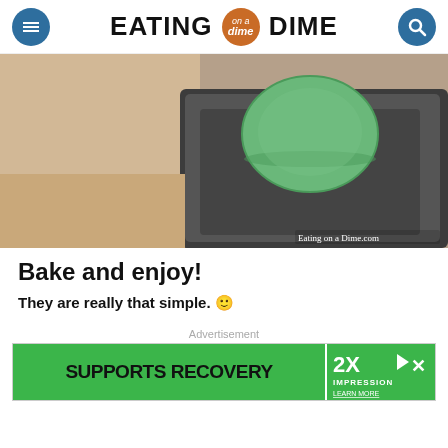EATING on a DIME
[Figure (photo): Close-up photo of a green macaron on a baking tray. Watermark reads: Eating on a Dime.com]
Bake and enjoy!
They are really that simple. 🙂
Advertisement
[Figure (other): Advertisement banner: green background with bold text SUPPORTS RECOVERY and 2XC Impression logo on the right side]